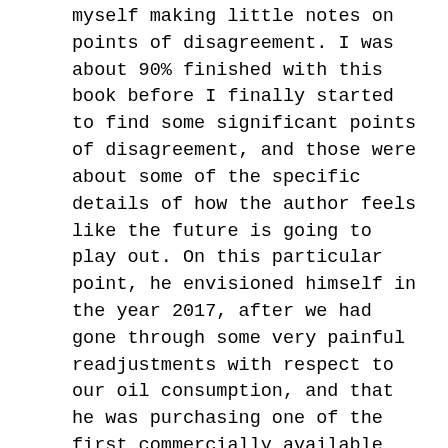myself making little notes on points of disagreement. I was about 90% finished with this book before I finally started to find some significant points of disagreement, and those were about some of the specific details of how the author feels like the future is going to play out. On this particular point, he envisioned himself in the year 2017, after we had gone through some very painful readjustments with respect to our oil consumption, and that he was purchasing one of the first commercially available hydrogen cell vehicles. I just don't think that's going to happen, and certainly not by 2017. But that's a minor point, and one that does not detract from the strength of this book.
In summary, this was a really great book that doesn't